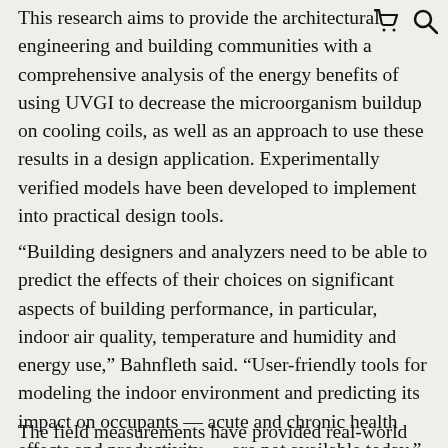This research aims to provide the architectural engineering and building communities with a comprehensive analysis of the energy benefits of using UVGI to decrease the microorganism buildup on cooling coils, as well as an approach to use these results in a design application. Experimentally verified models have been developed to implement into practical design tools.
“Building designers and analyzers need to be able to predict the effects of their choices on significant aspects of building performance, in particular, indoor air quality, temperature and humidity and energy use,” Bahnfleth said. “User-friendly tools for modeling the indoor environment and predicting its impact on occupants — acute and chronic health effects and productivity — are not available today.”
The field measurements have provided real-world data